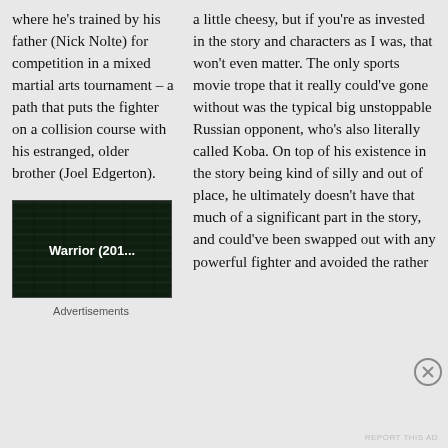where he's trained by his father (Nick Nolte) for competition in a mixed martial arts tournament – a path that puts the fighter on a collision course with his estranged, older brother (Joel Edgerton).
[Figure (screenshot): Dark video thumbnail showing 'Warrior (201...' text overlay on a dark green/black background]
Advertisements
a little cheesy, but if you're as invested in the story and characters as I was, that won't even matter. The only sports movie trope that it really could've gone without was the typical big unstoppable Russian opponent, who's also literally called Koba. On top of his existence in the story being kind of silly and out of place, he ultimately doesn't have that much of a significant part in the story, and could've been swapped out with any powerful fighter and avoided the rather